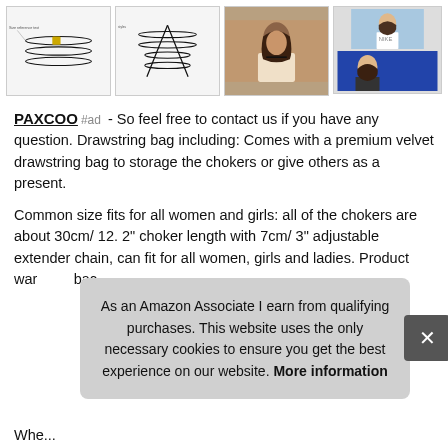[Figure (photo): Gallery of four product/lifestyle images showing choker necklaces and women wearing them]
PAXCOO #ad - So feel free to contact us if you have any question. Drawstring bag including: Comes with a premium velvet drawstring bag to storage the chokers or give others as a present.
Common size fits for all women and girls: all of the chokers are about 30cm/ 12. 2" choker length with 7cm/ 3" adjustable extender chain, can fit for all women, girls and ladies. Product war[ranty...] bac[k...]
As an Amazon Associate I earn from qualifying purchases. This website uses the only necessary cookies to ensure you get the best experience on our website. More information
Whe...